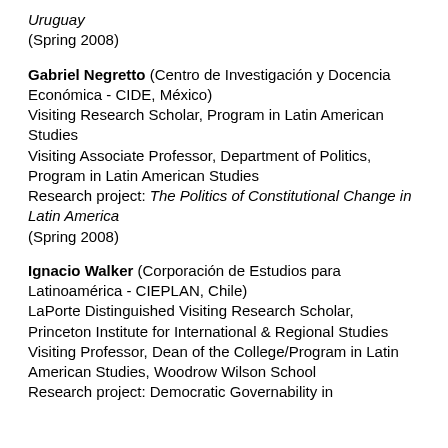Uruguay
(Spring 2008)
Gabriel Negretto (Centro de Investigación y Docencia Económica - CIDE, México)
Visiting Research Scholar, Program in Latin American Studies
Visiting Associate Professor, Department of Politics, Program in Latin American Studies
Research project: The Politics of Constitutional Change in Latin America
(Spring 2008)
Ignacio Walker (Corporación de Estudios para Latinoamérica - CIEPLAN, Chile)
LaPorte Distinguished Visiting Research Scholar, Princeton Institute for International & Regional Studies
Visiting Professor, Dean of the College/Program in Latin American Studies, Woodrow Wilson School
Research project: Democratic Governability in...